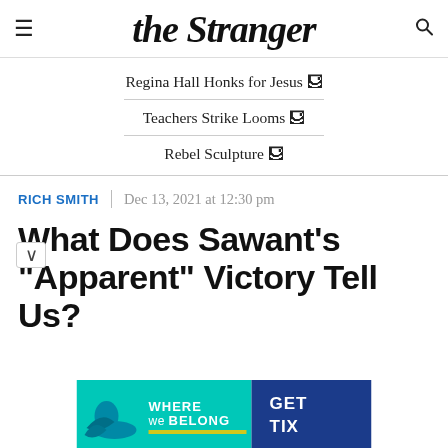the stranger
Regina Hall Honks for Jesus 🔗
Teachers Strike Looms 🔗
Rebel Sculpture 🔗
RICH SMITH | Dec 13, 2021 at 12:30 pm
What Does Sawant's "Apparent" Victory Tell Us?
[Figure (infographic): Advertisement banner: 'Where We Belong GET TIX' with teal and navy blue background and a figure illustration]